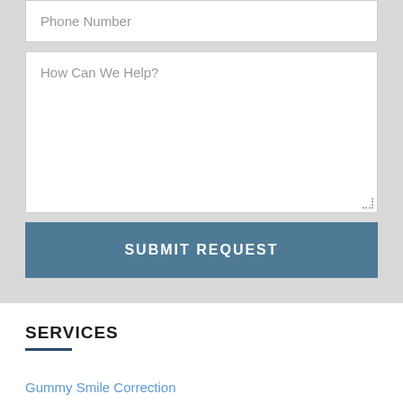Phone Number
How Can We Help?
SUBMIT REQUEST
SERVICES
Gummy Smile Correction
Gum Bleaching
Gum Grafting & Root Coverage